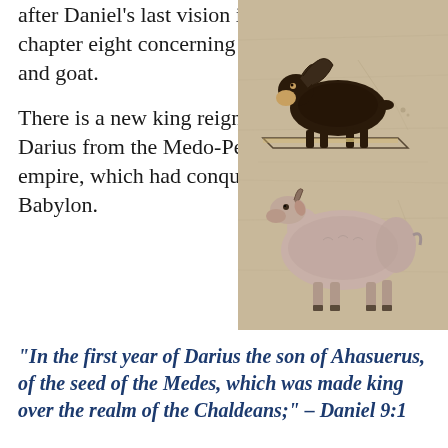after Daniel's last vision in chapter eight concerning a ram and goat.
There is a new king reigning, Darius from the Medo-Persian empire, which had conquered Babylon.
[Figure (photo): Photo of a wooden panel or board with two animal illustrations painted or pyrographed on it. The top image shows a ram (bighorn sheep) with large curved horns in a walking pose. The bottom image shows a goat in a standing profile pose. The board has a light tan/beige wood grain texture with scratches.]
“In the first year of Darius the son of Ahasuerus, of the seed of the Medes, which was made king over the realm of the Chaldeans;” – Daniel 9:1